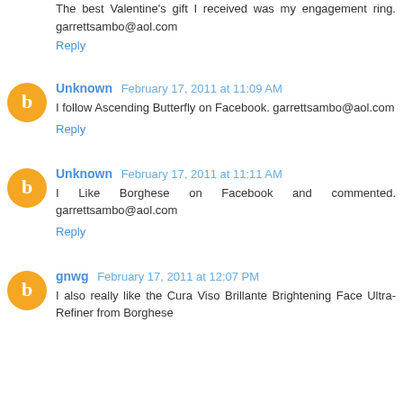The best Valentine's gift I received was my engagement ring. garrettsambo@aol.com
Reply
Unknown February 17, 2011 at 11:09 AM
I follow Ascending Butterfly on Facebook. garrettsambo@aol.com
Reply
Unknown February 17, 2011 at 11:11 AM
I Like Borghese on Facebook and commented. garrettsambo@aol.com
Reply
gnwg February 17, 2011 at 12:07 PM
I also really like the Cura Viso Brillante Brightening Face Ultra-Refiner from Borghese